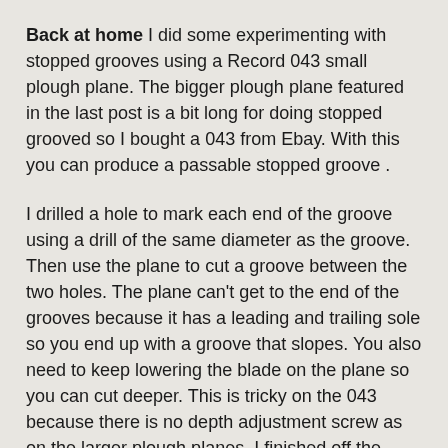Back at home I did some experimenting with stopped grooves using a Record 043 small plough plane. The bigger plough plane featured in the last post is a bit long for doing stopped grooved so I bought a 043 from Ebay. With this you can produce a passable stopped groove .
I drilled a hole to mark each end of the groove using a drill of the same diameter as the groove. Then use the plane to cut a groove between the two holes. The plane can't get to the end of the grooves because it has a leading and trailing sole so you end up with a groove that slopes. You also need to keep lowering the blade on the plane so you can cut deeper. This is tricky on the 043 because there is no depth adjustment screw as on the larger plough planes. I finished off the grooves with a chisel although a small router plane would have been a better tool perhaps.